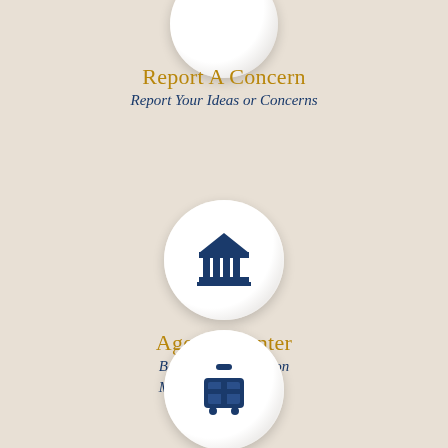[Figure (infographic): Partial circle button at top of page (cropped), part of a navigation menu]
Report A Concern
Report Your Ideas or Concerns
[Figure (infographic): Circle button with government/courthouse building icon in navy blue]
Agenda Center
Board & Commission Minutes & Agendas
[Figure (infographic): Circle button with luggage/suitcase icon in navy blue]
Visit Madison